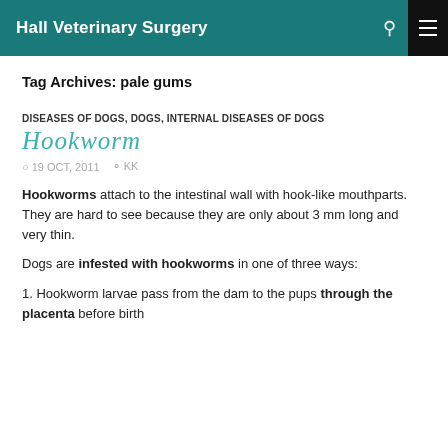Hall Veterinary Surgery
Tag Archives: pale gums
DISEASES OF DOGS, DOGS, INTERNAL DISEASES OF DOGS
Hookworm
19 OCT, 2011   KK
Hookworms attach to the intestinal wall with hook-like mouthparts. They are hard to see because they are only about 3 mm long and very thin.
Dogs are infested with hookworms in one of three ways:
1. Hookworm larvae pass from the dam to the pups through the placenta before birth